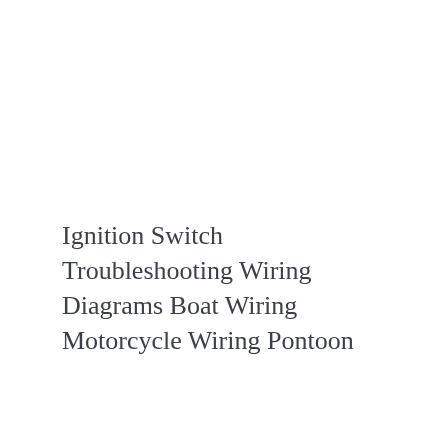Ignition Switch Troubleshooting Wiring Diagrams Boat Wiring Motorcycle Wiring Pontoon